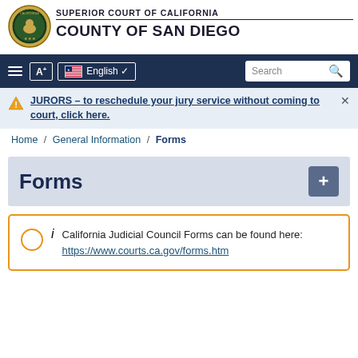[Figure (logo): California state seal circular logo with bear and text]
SUPERIOR COURT OF CALIFORNIA
COUNTY OF SAN DIEGO
[Figure (screenshot): Navigation bar with hamburger menu, A+ button, English language selector with US flag, and Search box]
JURORS – to reschedule your jury service without coming to court, click here.
Home / General Information / Forms
Forms
California Judicial Council Forms can be found here:
https://www.courts.ca.gov/forms.htm